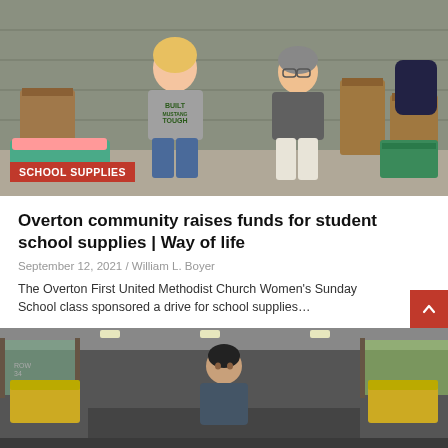[Figure (photo): Two women sitting among brown paper bags full of school supplies, with clothing and backpacks stacked around them. Indoor setting.]
SCHOOL SUPPLIES
Overton community raises funds for student school supplies | Way of life
September 12, 2021 / William L. Boyer
The Overton First United Methodist Church Women's Sunday School class sponsored a drive for school supplies…
[Figure (photo): Interior of a school bus with a person standing in the aisle, yellow seats on either side, windows showing trees outside.]